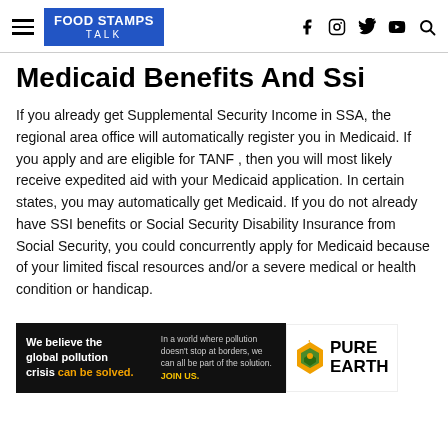FOOD STAMPS TALK
Medicaid Benefits And Ssi
If you already get Supplemental Security Income in SSA, the regional area office will automatically register you in Medicaid. If you apply and are eligible for TANF , then you will most likely receive expedited aid with your Medicaid application. In certain states, you may automatically get Medicaid. If you do not already have SSI benefits or Social Security Disability Insurance from Social Security, you could concurrently apply for Medicaid because of your limited fiscal resources and/or a severe medical or health condition or handicap.
[Figure (other): Advertisement banner for Pure Earth showing text: We believe the global pollution crisis can be solved. In a world where pollution doesn't stop at borders, we can all be part of the solution. JOIN US. Pure Earth logo.]